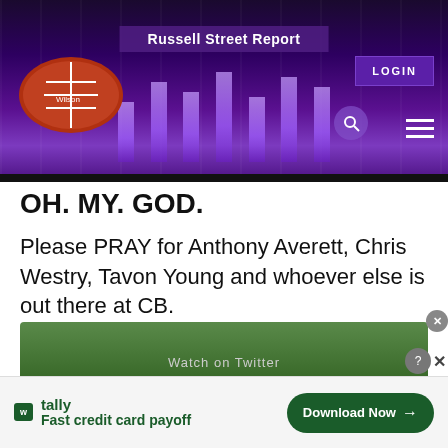Russell Street Report
OH. MY. GOD.
Please PRAY for Anthony Averett, Chris Westry, Tavon Young and whoever else is out there at CB.
Davante Adams is DIFFERENT.
#RavensFlock
[Figure (screenshot): Embedded tweet/video preview with green background]
W tally Fast credit card payoff
Download Now →